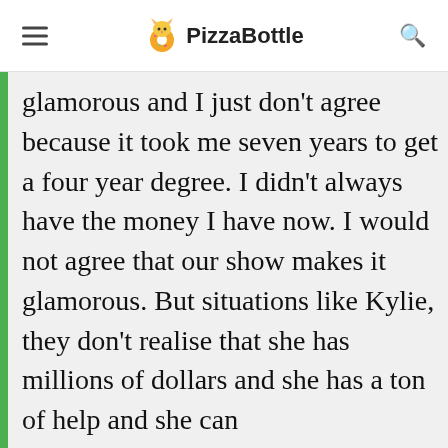PizzaBottle
glamorous and I just don't agree because it took me seven years to get a four year degree. I didn't always have the money I have now. I would not agree that our show makes it glamorous. But situations like Kylie, they don't realise that she has millions of dollars and she has a ton of help and she can